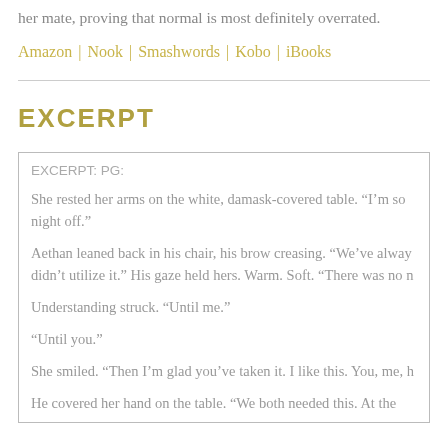her mate, proving that normal is most definitely overrated.
Amazon | Nook | Smashwords | Kobo | iBooks
EXCERPT
EXCERPT: PG:
She rested her arms on the white, damask-covered table. “I’m so night off.”
Aethan leaned back in his chair, his brow creasing. “We’ve alway didn’t utilize it.” His gaze held hers. Warm. Soft. “There was no n
Understanding struck. “Until me.”
“Until you.”
She smiled. “Then I’m glad you’ve taken it. I like this. You, me, h
He covered her hand on the table. “We both needed this. At the